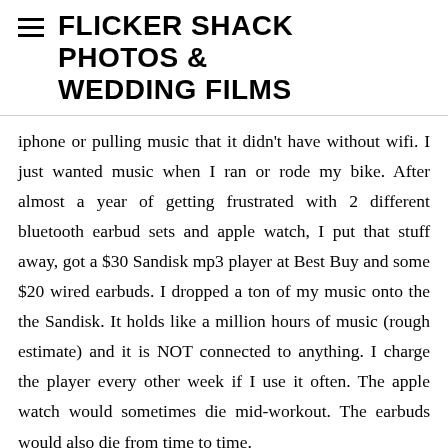FLICKER SHACK PHOTOS & WEDDING FILMS
iphone or pulling music that it didn't have without wifi. I just wanted music when I ran or rode my bike. After almost a year of getting frustrated with 2 different bluetooth earbud sets and apple watch, I put that stuff away, got a $30 Sandisk mp3 player at Best Buy and some $20 wired earbuds. I dropped a ton of my music onto the the Sandisk. It holds like a million hours of music (rough estimate) and it is NOT connected to anything. I charge the player every other week if I use it often. The apple watch would sometimes die mid-workout. The earbuds would also die from time to time.